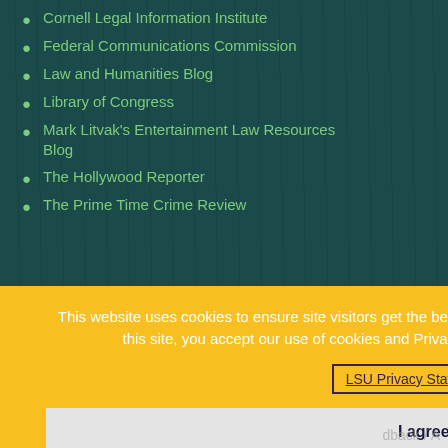Cornell Legal Information Institute
Federal Communications Commission
Law and Humanities Blog
Library of Congress
Mark Litvak's Entertainment Law Resources Blog
The Hollywood Reporter
The Prime Time Crime Review
This website uses cookies to ensure site visitors get the best experience on our website. By continuing to use this site, you accept our use of cookies and Privacy Statement. To learn more, please visit LSU Privacy Statement.
I agree.
dback / A